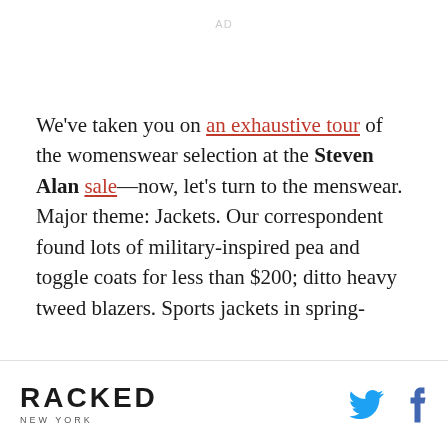AD
We've taken you on an exhaustive tour of the womenswear selection at the Steven Alan sale—now, let's turn to the menswear. Major theme: Jackets. Our correspondent found lots of military-inspired pea and toggle coats for less than $200; ditto heavy tweed blazers. Sports jackets in spring-
RACKED NEW YORK